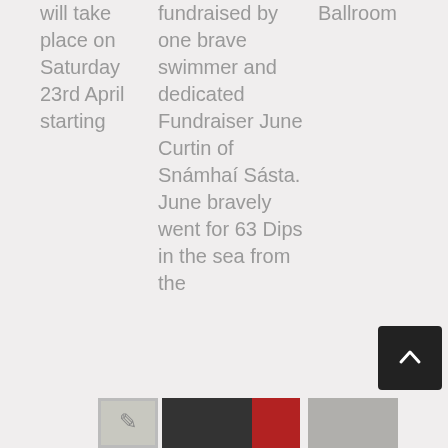will take place on Saturday 23rd April starting
fundraised by one brave swimmer and dedicated Fundraiser June Curtin of Snámhaí Sásta. June bravely went for 63 Dips in the sea from the
Ballroom
[Figure (photo): Small thumbnail images at the bottom of the page including a sketch, dark photo, red image, and a grey photo]
[Figure (other): Dark scroll-to-top button with upward chevron arrow]